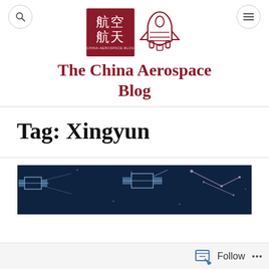[Figure (logo): China Aerospace Blog logo: dark red square with Chinese characters 航空航天 and URL china-aerospace.blog, alongside a dark red outline rocket/shuttle illustration]
The China Aerospace Blog
Tag: Xingyun
[Figure (photo): Dark navy blue banner image showing satellites in space with geometric/constellation line artwork]
Follow ...